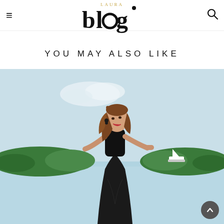Laura Blog – navigation header with hamburger menu, logo, and search icon
YOU MAY ALSO LIKE
[Figure (photo): Woman in a black flowing outfit standing outdoors near a waterfront with green trees and a white boat in the background on a light blue sky day]